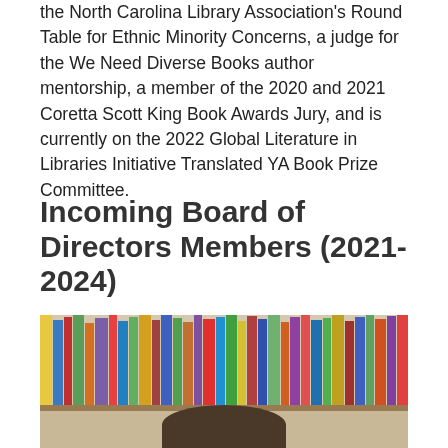the North Carolina Library Association's Round Table for Ethnic Minority Concerns, a judge for the We Need Diverse Books author mentorship, a member of the 2020 and 2021 Coretta Scott King Book Awards Jury, and is currently on the 2022 Global Literature in Libraries Initiative Translated YA Book Prize Committee.
Incoming Board of Directors Members (2021-2024)
[Figure (photo): A person photographed in front of a bookshelf filled with colorful books. Only the top of the person's head and forehead is visible at the bottom of the image.]